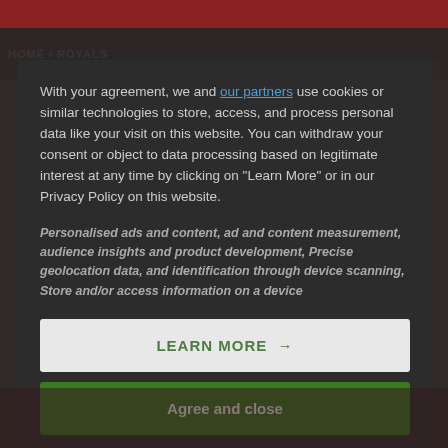HOME / ROYALS   SUBS
With your agreement, we and our partners use cookies or similar technologies to store, access, and process personal data like your visit on this website. You can withdraw your consent or object to data processing based on legitimate interest at any time by clicking on "Learn More" or in our Privacy Policy on this website.
Personalised ads and content, ad and content measurement, audience insights and product development, Precise geolocation data, and identification through device scanning, Store and/or access information on a device
LEARN MORE →
Agree and close